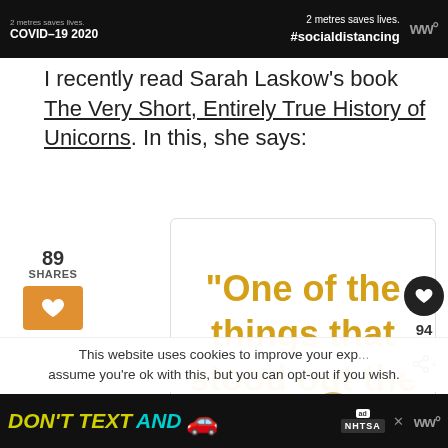[Figure (screenshot): Top dark banner with COVID-19 2020 text and #socialdistancing, with Ww logo]
I recently read Sarah Laskow's book The Very Short, Entirely True History of Unicorns. In this, she says:
89 SHARES
[Figure (screenshot): Quote box with golden text: "One of the things that stood out the]
This website uses cookies to improve your experience. We'll assume you're ok with this, but you can opt-out if you wish.
[Figure (screenshot): Bottom ad banner: DON'T TEXT AND [car emoji] with NHTSA badge]